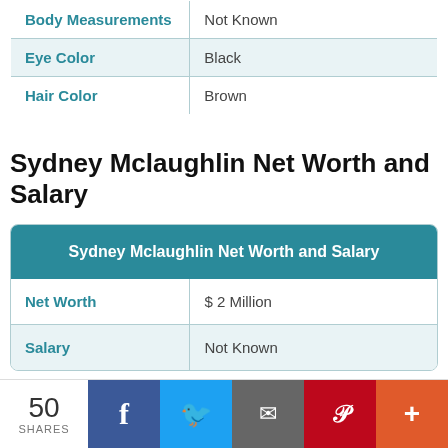|  |  |
| --- | --- |
| Body Measurements | Not Known |
| Eye Color | Black |
| Hair Color | Brown |
Sydney Mclaughlin Net Worth and Salary
| Sydney Mclaughlin Net Worth and Salary |
| --- |
| Net Worth | $ 2 Million |
| Salary | Not Known |
50 SHARES